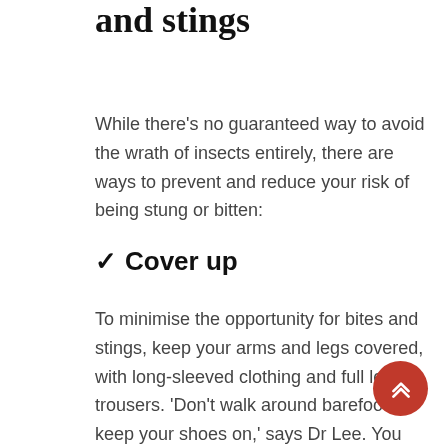and stings
While there's no guaranteed way to avoid the wrath of insects entirely, there are ways to prevent and reduce your risk of being stung or bitten:
✓ Cover up
To minimise the opportunity for bites and stings, keep your arms and legs covered, with long-sleeved clothing and full length trousers. 'Don't walk around barefoot – keep your shoes on,' says Dr Lee. You should also cover any food and drinks, remembering insects can climb inside cans. 'Avoid rubbish bins and refuse areas and keep the lids on your bins,' she